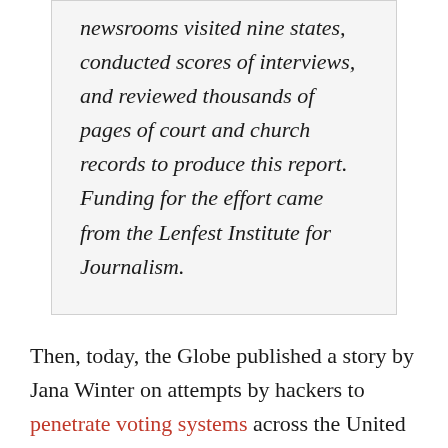newsrooms visited nine states, conducted scores of interviews, and reviewed thousands of pages of court and church records to produce this report. Funding for the effort came from the Lenfest Institute for Journalism.
Then, today, the Globe published a story by Jana Winter on attempts by hackers to penetrate voting systems across the United States. Fortunately, her reporting shows that officials are well aware of those attempts and that they appear to be on top of it. Equally interesting, though, is that Winter is the Globe's